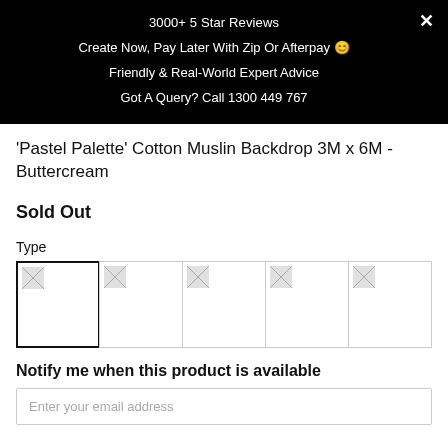3000+ 5 Star Reviews
Create Now, Pay Later With Zip Or Afterpay 😊
Friendly & Real-World Expert Advice
Got A Query? Call 1300 449 767
'Pastel Palette' Cotton Muslin Backdrop 3M x 6M - Buttercream
Sold Out
Type
[Figure (other): Five product type swatch image selectors in a row; first one is selected with a darker border]
Notify me when this product is available
Enter your email address